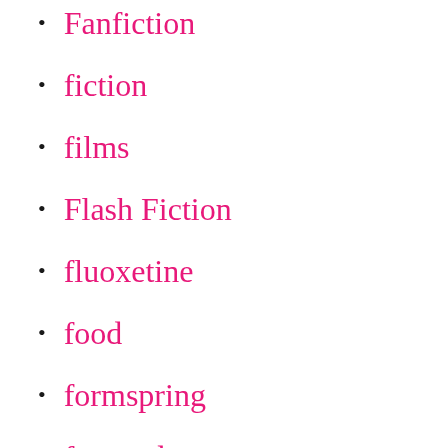Fanfiction
fiction
films
Flash Fiction
fluoxetine
food
formspring
forwards
freedom
friends
frustrations
fun stuff
furosemide
General Life Stuff 2006 – 2008
goals
good things